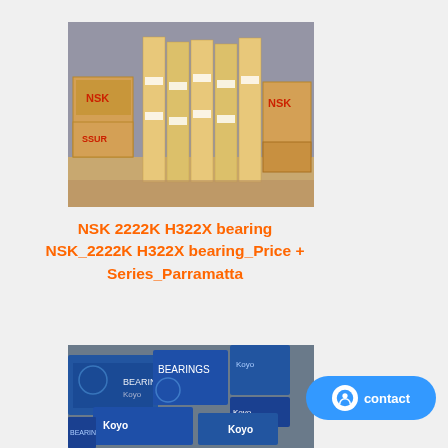[Figure (photo): Warehouse shelves stacked with NSK branded cardboard boxes and bearing packages]
NSK 2222K H322X bearing NSK_2222K H322X bearing_Price + Series_Parramatta
[Figure (photo): Blue Koyo branded bearing boxes and packages stacked together]